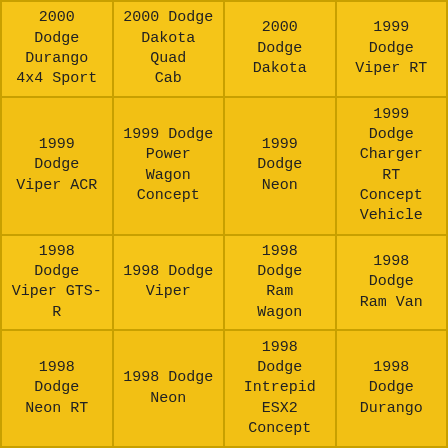| 2000 Dodge Durango 4x4 Sport | 2000 Dodge Dakota Quad Cab | 2000 Dodge Dakota | 1999 Dodge Viper RT |
| 1999 Dodge Viper ACR | 1999 Dodge Power Wagon Concept | 1999 Dodge Neon | 1999 Dodge Charger RT Concept Vehicle |
| 1998 Dodge Viper GTS-R | 1998 Dodge Viper | 1998 Dodge Ram Wagon | 1998 Dodge Ram Van |
| 1998 Dodge Neon RT | 1998 Dodge Neon | 1998 Dodge Intrepid ESX2 Concept | 1998 Dodge Durango |